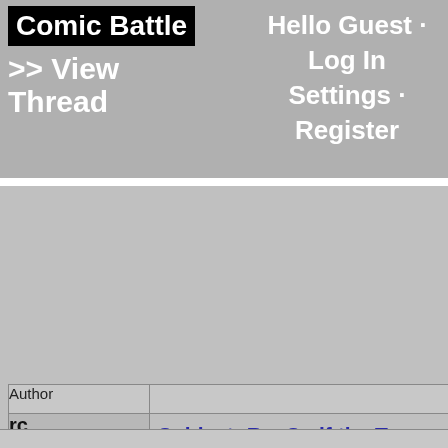Comic Battle
>> View Thread
Hello Guest · Log In Settings · Register
| Author |  |
| --- | --- |
| rc [avatar image] | Subject: Re: So if the T... be Superman-level? Sp...
Destroyer]
Posted Mon Dec 28, 2009 at 12:4... |